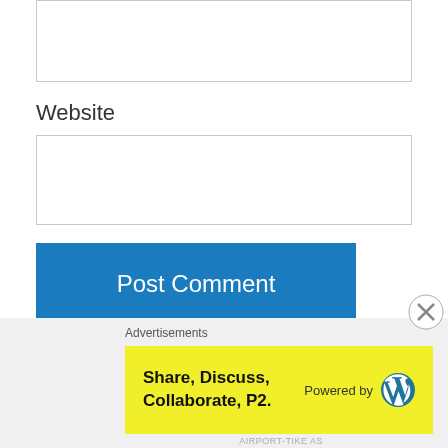[Figure (screenshot): Partial text input box at top of page (cropped)]
Website
[Figure (screenshot): Website URL input text field]
Post Comment
Notify me of new comments via email.
Notify me of new posts via email.
Anon on July 15, 2016 at 11:45
Advertisements
Share, Discuss, Collaborate, P2.
Powered by